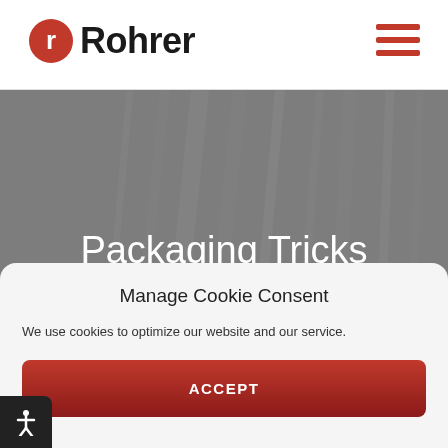Rohrer
[Figure (screenshot): Hero image of packaging/industrial product with grey background and subtle vertical line pattern]
Packaging Tricks for Your Growing Brand
Manage Cookie Consent
We use cookies to optimize our website and our service.
ACCEPT